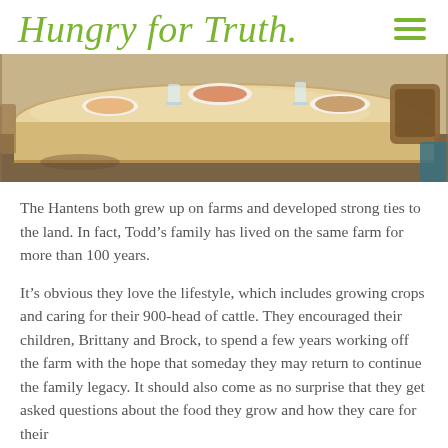Hungry for Truth
[Figure (photo): Close-up photo of a wooden dining table with plates of food, glasses, and chairs around it, warm indoor lighting]
The Hantens both grew up on farms and developed strong ties to the land. In fact, Todd’s family has lived on the same farm for more than 100 years.
It’s obvious they love the lifestyle, which includes growing crops and caring for their 900-head of cattle. They encouraged their children, Brittany and Brock, to spend a few years working off the farm with the hope that someday they may return to continue the family legacy. It should also come as no surprise that they get asked questions about the food they grow and how they care for their